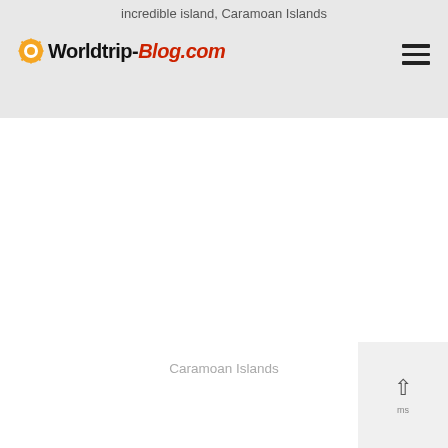incredible island, Caramoan Islands
[Figure (logo): Worldtrip-Blog.com logo with orange compass/sun icon]
Caramoan Islands